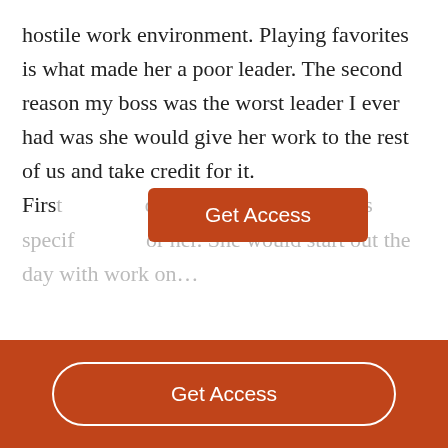hostile work environment. Playing favorites is what made her a poor leader. The second reason my boss was the worst leader I ever had was she would give her work to the rest of us and take credit for it. First... [department had job duties specif... or her. She would start out the day with work on...
[Figure (other): Orange 'Get Access' button overlay partially obscuring the text]
[Figure (other): Orange footer bar with 'Get Access' button with white rounded border]